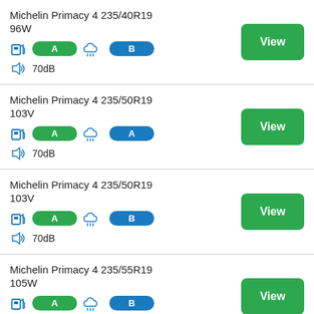Michelin Primacy 4 235/40R19 96W, Fuel: A, Wet grip: B, Noise: 70dB
Michelin Primacy 4 235/50R19 103V, Fuel: A, Wet grip: A, Noise: 70dB
Michelin Primacy 4 235/50R19 103V, Fuel: A, Wet grip: B, Noise: 70dB
Michelin Primacy 4 235/55R19 105W, Fuel: A, Wet grip: B, Noise: 70dB